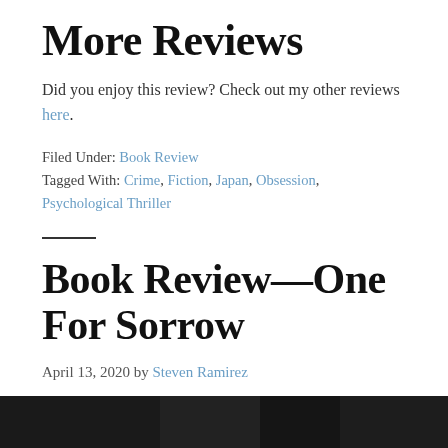More Reviews
Did you enjoy this review? Check out my other reviews here.
Filed Under: Book Review
Tagged With: Crime, Fiction, Japan, Obsession, Psychological Thriller
Book Review—One For Sorrow
April 13, 2020 by Steven Ramirez
[Figure (photo): Dark book cover image at the bottom of the page]